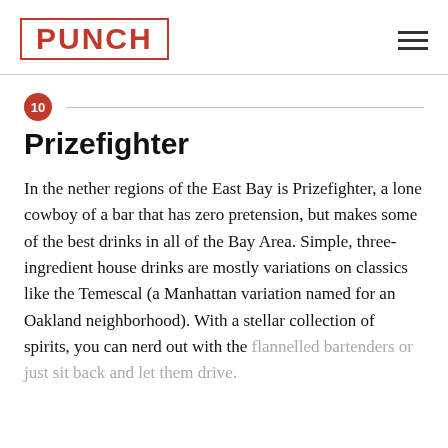PUNCH
10 Prizefighter
In the nether regions of the East Bay is Prizefighter, a lone cowboy of a bar that has zero pretension, but makes some of the best drinks in all of the Bay Area. Simple, three-ingredient house drinks are mostly variations on classics like the Temescal (a Manhattan variation named for an Oakland neighborhood). With a stellar collection of spirits, you can nerd out with the flannelled bartenders or just sit back and let them drive.